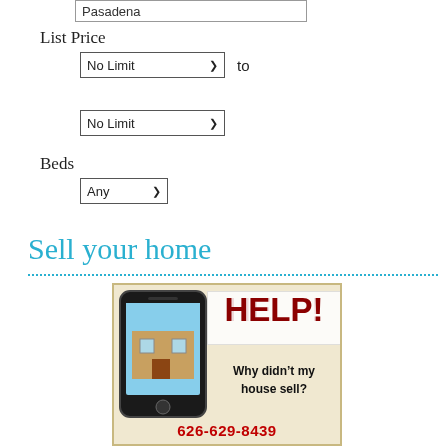Pasadena
List Price
No Limit  to
No Limit
Beds
Any
Sell your home
[Figure (illustration): Advertisement showing a smartphone displaying a house photo, with bold red 'HELP!' text, body text 'Why didn’t my house sell?' and phone number '626-629-8439' on a beige/cream background]